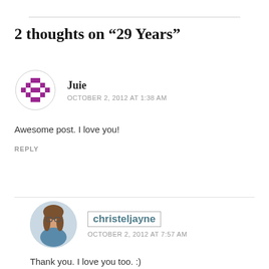2 thoughts on “29 Years”
[Figure (illustration): Purple pixel/mosaic style avatar icon for user Juie]
Juie
OCTOBER 2, 2012 AT 1:38 AM
Awesome post. I love you!
REPLY
[Figure (photo): Circular profile photo of christeljayne, a woman with glasses and dark hair]
christeljayne
OCTOBER 2, 2012 AT 7:57 AM
Thank you. I love you too. :)